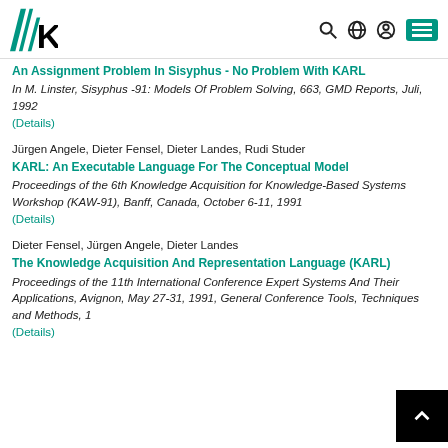KIT logo and navigation icons
An Assignment Problem In Sisyphus - No Problem With KARL
In M. Linster, Sisyphus -91: Models Of Problem Solving, 663, GMD Reports, Juli, 1992
(Details)
Jürgen Angele, Dieter Fensel, Dieter Landes, Rudi Studer
KARL: An Executable Language For The Conceptual Model
Proceedings of the 6th Knowledge Acquisition for Knowledge-Based Systems Workshop (KAW-91), Banff, Canada, October 6-11, 1991
(Details)
Dieter Fensel, Jürgen Angele, Dieter Landes
The Knowledge Acquisition And Representation Language (KARL)
Proceedings of the 11th International Conference Expert Systems And Their Applications, Avignon, May 27-31, 1991, General Conference Tools, Techniques and Methods, 1
(Details)